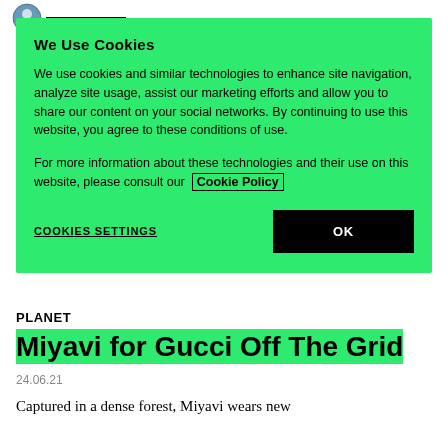We Use Cookies
We use cookies and similar technologies to enhance site navigation, analyze site usage, assist our marketing efforts and allow you to share our content on your social networks. By continuing to use this website, you agree to these conditions of use.
For more information about these technologies and their use on this website, please consult our Cookie Policy
COOKIES SETTINGS
OK
PLANET
Miyavi for Gucci Off The Grid
24.06.21
Captured in a dense forest, Miyavi wears new